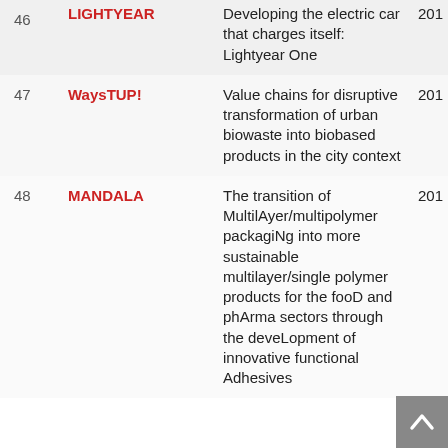| # | Name | Description | Year |
| --- | --- | --- | --- |
| 46 | LIGHTYEAR | Developing the electric car that charges itself: Lightyear One | 201… |
| 47 | WaysTUP! | Value chains for disruptive transformation of urban biowaste into biobased products in the city context | 201… |
| 48 | MANDALA | The transition of MultilAyer/multipolymer packagiNg into more sustainable multilayer/single polymer products for the fooD and phArma sectors through the deveLopment of innovative functional Adhesives | 201… |